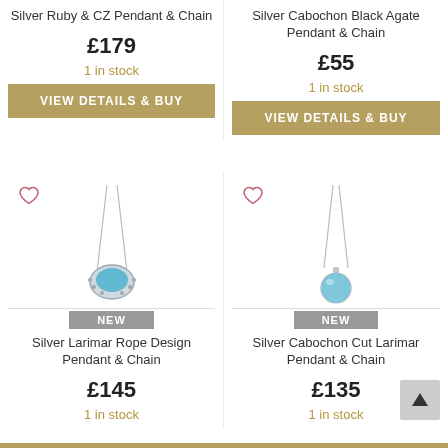Silver Ruby & CZ Pendant & Chain
Silver Cabochon Black Agate Pendant & Chain
£179
£55
1 in stock
1 in stock
VIEW DETAILS & BUY
VIEW DETAILS & BUY
[Figure (photo): Silver Larimar Rope Design Pendant & Chain necklace with blue turquoise oval cabochon pendant]
[Figure (photo): Silver Cabochon Cut Larimar Pendant & Chain necklace with round blue bead pendant]
NEW
NEW
Silver Larimar Rope Design Pendant & Chain
Silver Cabochon Cut Larimar Pendant & Chain
£145
£135
1 in stock
1 in stock